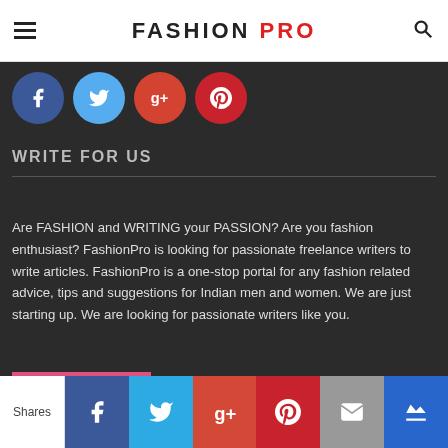FASHION PRO
[Figure (illustration): Four social media circle icons: Facebook (dark blue), Twitter (light blue), Google+ (orange-red), Pinterest (dark red)]
WRITE FOR US
Are FASHION and WRITING your PASSION? Are you fashion enthusiast? FashionPro is looking for passionate freelance writers to write articles. FashionPro is a one-stop portal for any fashion related advice, tips and suggestions for Indian men and women. We are just starting up. We are looking for passionate writers like you.
Apply Now
Shares | Facebook | Twitter | Google+ | Pinterest | Mail | Crown